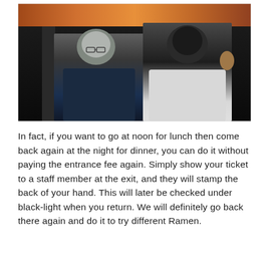[Figure (photo): Two women wearing hijabs posing together and smiling inside what appears to be a ramen restaurant or food market with warm decorative ceiling lighting and glowing display cases in the background.]
In fact, if you want to go at noon for lunch then come back again at the night for dinner, you can do it without paying the entrance fee again. Simply show your ticket to a staff member at the exit, and they will stamp the back of your hand. This will later be checked under black-light when you return. We will definitely go back there again and do it to try different Ramen.